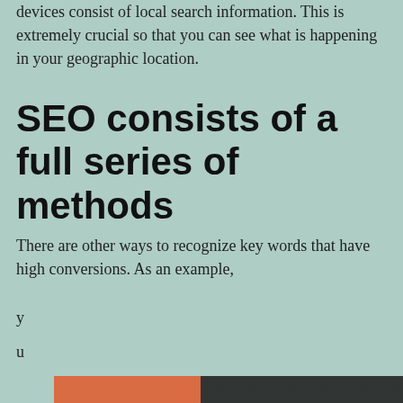devices consist of local search information. This is extremely crucial so that you can see what is happening in your geographic location.
SEO consists of a full series of methods
There are other ways to recognize key words that have high conversions. As an example,
y
u
[Figure (screenshot): Cookie consent banner overlay on a webpage. Text reads: 'Privacy & Cookies: This site uses cookies. By continuing to use this website, you agree to their use. To find out more, including how to control cookies, see here: Cookie Policy'. A 'Close and accept' button is shown at the bottom right, and an X close button is at the top right of the banner.]